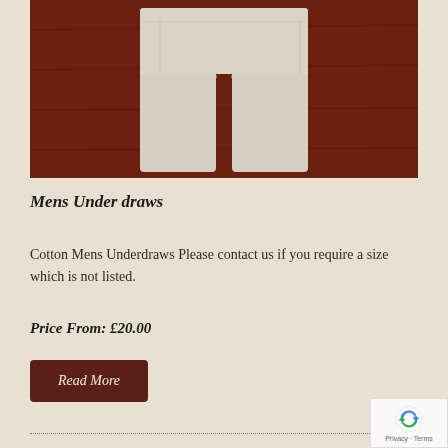[Figure (photo): Photo of white/cream cotton mens underdraws (long underwear pants) laid flat on a dark reddish-brown wooden surface]
Mens Under draws
Cotton Mens Underdraws Please contact us if you require a size which is not listed.
Price From: £20.00
Read More